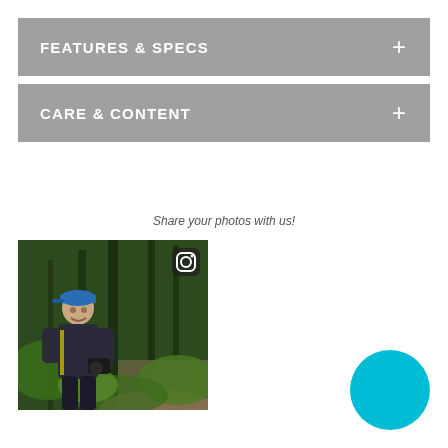FEATURES & SPECS
CARE & CONTENT
Share your photos with us!
[Figure (photo): Person in blue cap and dark jacket hiking on a forest trail surrounded by tall trees and green ferns, with an Instagram icon overlay in top right corner]
[Figure (other): Teal/cyan circular chat or action button in bottom right corner]